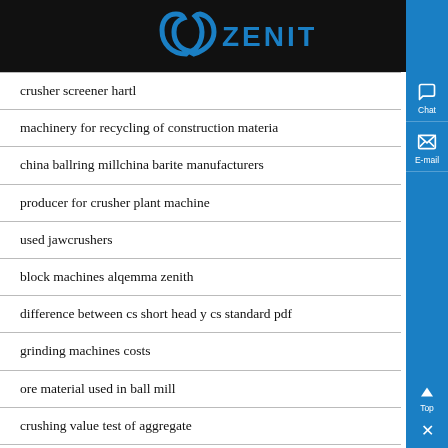ZENIT
crusher screener hartl
machinery for recycling of construction materia
china ballring millchina barite manufacturers
producer for crusher plant machine
used jawcrushers
block machines alqemma zenith
difference between cs short head y cs standard pdf
grinding machines costs
ore material used in ball mill
crushing value test of aggregate
float house coal mining